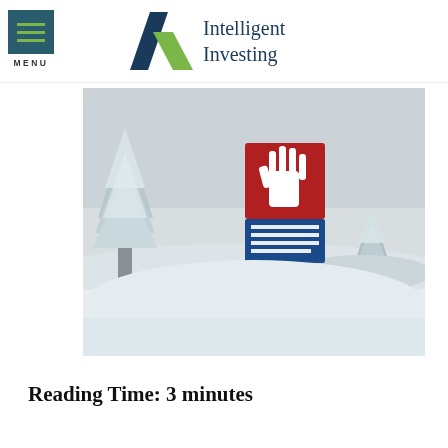MENU | Intelligent Investing
[Figure (photo): Winter landscape with snow-covered evergreen trees and an avalanche warning sign. The sign has a red panel with a white hand symbol above a blue panel with multilingual text reading LAWINENGEFAHR / DANGER D'AVALANCHES / DANGER OF AVALANCHES / PERICOLO DI VALANGHE.]
Reading Time: 3 minutes